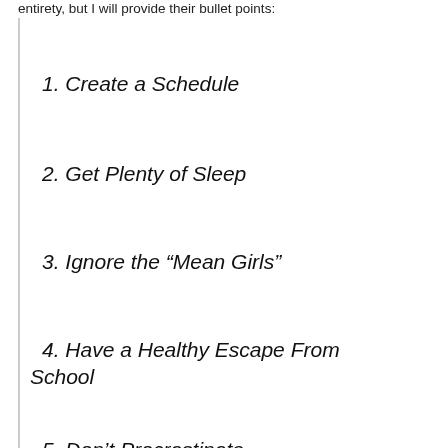entirety, but I will provide their bullet points:
1. Create a Schedule
2. Get Plenty of Sleep
3. Ignore the “Mean Girls”
4. Have a Healthy Escape From School
5. Don’t Procrastinate